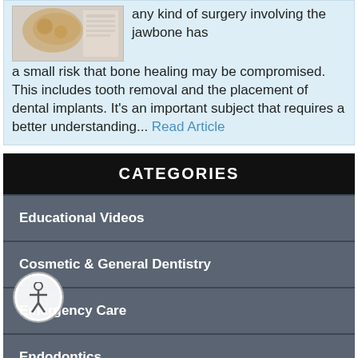any kind of surgery involving the jawbone has a small risk that bone healing may be compromised. This includes tooth removal and the placement of dental implants. It's an important subject that requires a better understanding... Read Article
CATEGORIES
Educational Videos
Cosmetic & General Dentistry
Emergency Care
Endodontics
Implant Dentistry